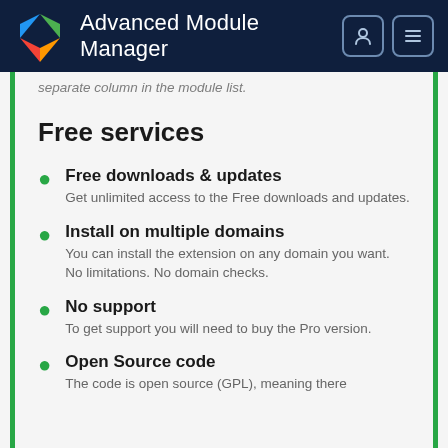Advanced Module Manager
separate column in the module list.
Free services
Free downloads & updates
Get unlimited access to the Free downloads and updates.
Install on multiple domains
You can install the extension on any domain you want. No limitations. No domain checks.
No support
To get support you will need to buy the Pro version.
Open Source code
The code is open source (GPL), meaning there is a free for the extension. No cost of Zo...